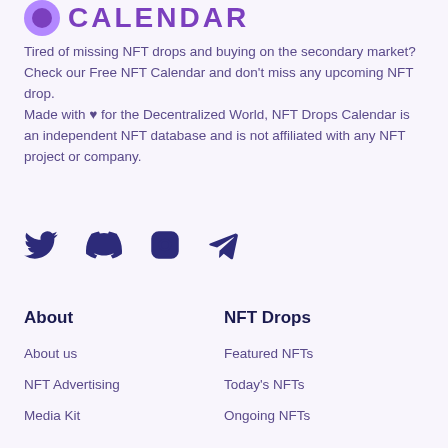CALENDAR
Tired of missing NFT drops and buying on the secondary market? Check our Free NFT Calendar and don't miss any upcoming NFT drop.
Made with ♥ for the Decentralized World, NFT Drops Calendar is an independent NFT database and is not affiliated with any NFT project or company.
[Figure (illustration): Social media icons: Twitter bird, Discord, Instagram, Telegram paper plane — all in dark navy/purple]
About
NFT Drops
About us
NFT Advertising
Media Kit
Featured NFTs
Today's NFTs
Ongoing NFTs